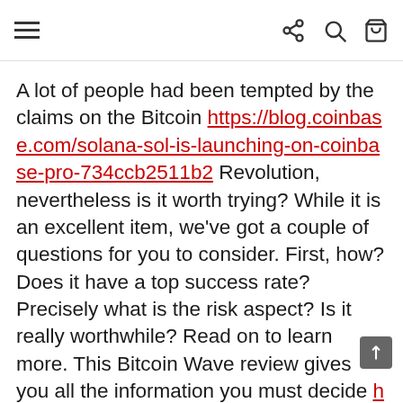Navigation header with hamburger menu and icons (share, search, cart)
A lot of people had been tempted by the claims on the Bitcoin https://blog.coinbase.com/solana-sol-is-launching-on-coinbase-pro-734ccb2511b2 Revolution, nevertheless is it worth trying? While it is an excellent item, we've got a couple of questions for you to consider. First, how? Does it have a top success rate? Precisely what is the risk aspect? Is it really worthwhile? Read on to learn more. This Bitcoin Wave review gives you all the information you must decide https://cryptoglobalcapital.com/fi/trading-bots/the-bitcoin-revolution whether the robotic is right for you.